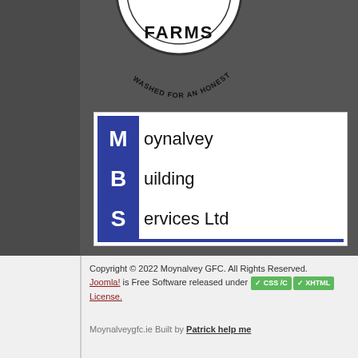[Figure (logo): Partial circular farm logo with text FARMS and WASHED FOR AN HONEST LEA visible]
[Figure (logo): Moynalvey Building Services Ltd logo with blue vertical bar on left showing M, B, S initials in white, and full words in black on white background]
Copyright © 2022 Moynalvey GFC. All Rights Reserved. Joomla! is Free Software released under the License.
Moynalveygfc.ie Built by Patrick help me